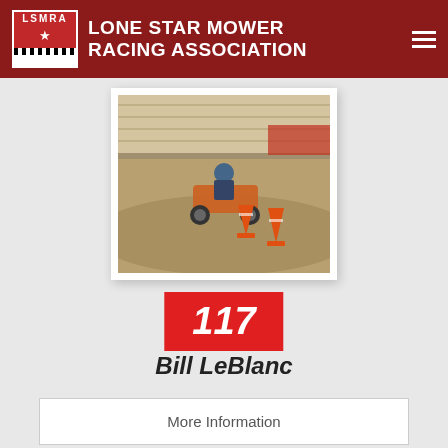Lone Star Mower Racing Association
[Figure (photo): Racing mower on dirt track with orange traffic cones, rider in helmet, grandstands in background]
117
Bill LeBlanc
More Information